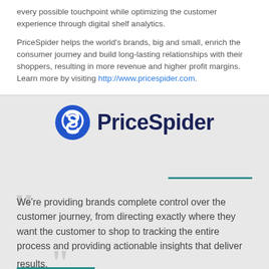every possible touchpoint while optimizing the customer experience through digital shelf analytics.
PriceSpider helps the world's brands, big and small, enrich the consumer journey and build long-lasting relationships with their shoppers, resulting in more revenue and higher profit margins. Learn more by visiting http://www.pricespider.com.
[Figure (logo): PriceSpider logo with blue circular icon containing a stylized 'S' and bold dark navy 'PriceSpider' wordmark]
We're providing brands complete control over the customer journey, from directing exactly where they want the customer to shop to tracking the entire process and providing actionable insights that deliver results.